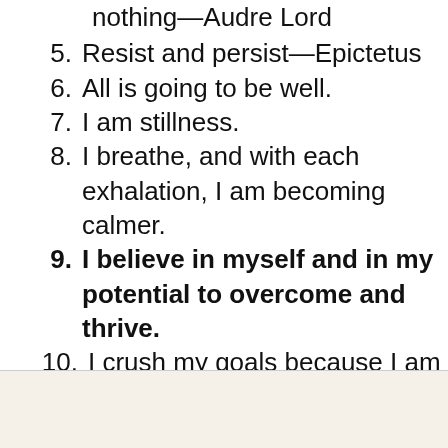nothing—Audre Lord
5. Resist and persist—Epictetus
6. All is going to be well.
7. I am stillness.
8. I breathe, and with each exhalation, I am becoming calmer.
9. I believe in myself and in my potential to overcome and thrive.
10. I crush my goals because I am consistent.